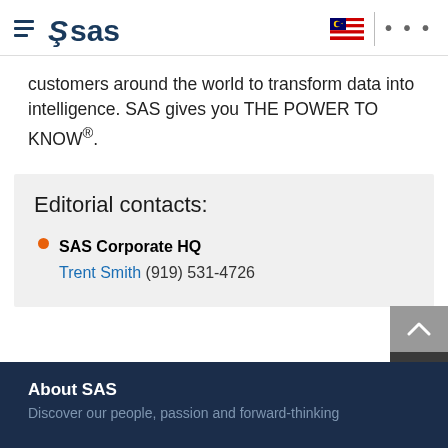SAS logo navigation header with hamburger menu, Malaysia flag, and more options dots
customers around the world to transform data into intelligence. SAS gives you THE POWER TO KNOW®.
Editorial contacts:
SAS Corporate HQ — Trent Smith (919) 531-4726
About SAS
Discover our people, passion and forward-thinking